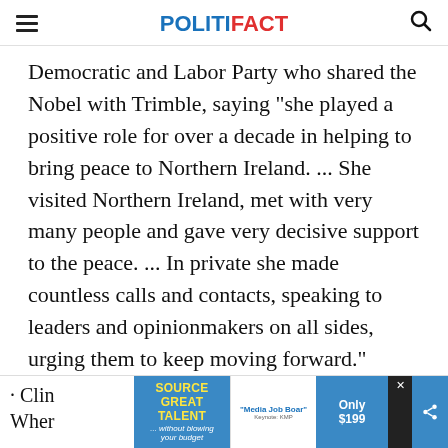POLITIFACT
Democratic and Labor Party who shared the Nobel with Trimble, saying "she played a positive role for over a decade in helping to bring peace to Northern Ireland. ... She visited Northern Ireland, met with very many people and gave very decisive support to the peace. ... In private she made countless calls and contacts, speaking to leaders and opinionmakers on all sides, urging them to keep moving forward."
· Clin
Wher
This